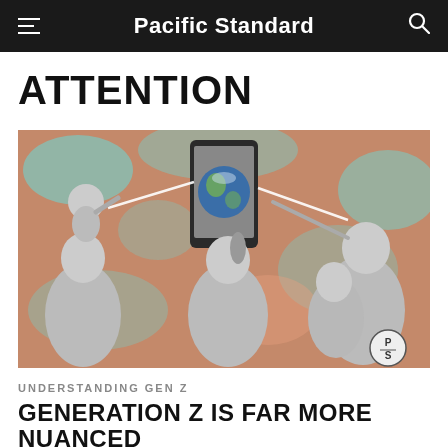Pacific Standard
ATTENTION
[Figure (photo): Collage illustration with vintage black-and-white photographs of families and people on a colorful abstract coral and teal painted background, with a smartphone showing Earth and laser beams of light]
UNDERSTANDING GEN Z
GENERATION Z IS FAR MORE NUANCED